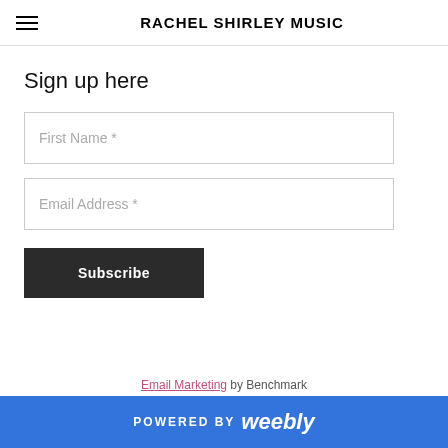RACHEL SHIRLEY MUSIC
Sign up here
First Name *
Email Address *
Subscribe
Email Marketing by Benchmark
POWERED BY weebly